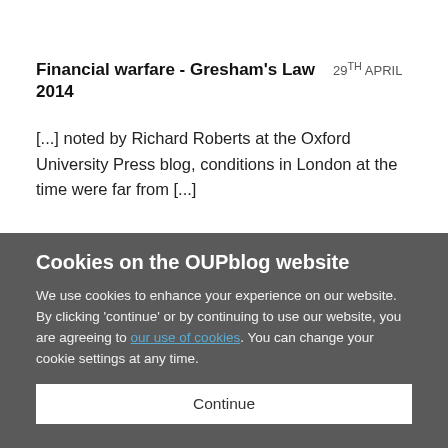Financial warfare - Gresham's Law   29TH APRIL 2014
[...] noted by Richard Roberts at the Oxford University Press blog, conditions in London at the time were far from [...]
Aggregate Demand Dominance: 300 Years of
Cookies on the OUPblog website
We use cookies to enhance your experience on our website. By clicking 'continue' or by continuing to use our website, you are agreeing to our use of cookies. You can change your cookie settings at any time.